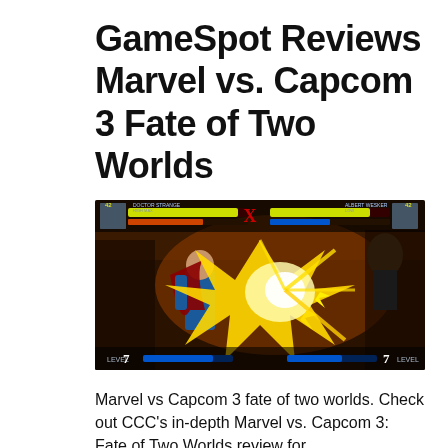GameSpot Reviews Marvel vs. Capcom 3 Fate of Two Worlds
[Figure (screenshot): Screenshot from Marvel vs. Capcom 3: Fate of Two Worlds showing Doctor Strange facing an opponent with a large yellow energy explosion between them. HUD shows health bars, character portraits (Doctor Strange vs Albert Wesker), and level indicators (Level 7 on both sides) with blue super meter bars.]
Marvel vs Capcom 3 fate of two worlds. Check out CCC's in-depth Marvel vs. Capcom 3: Fate of Two Worlds review for the CCC to find out if this game belongs on the...